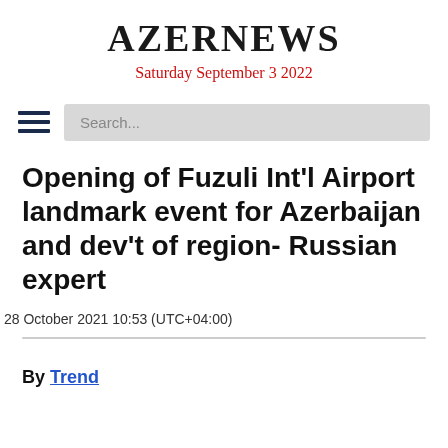AZERNEWS
Saturday September 3 2022
Opening of Fuzuli Int'l Airport landmark event for Azerbaijan and dev't of region- Russian expert
28 October 2021 10:53 (UTC+04:00)
By Trend